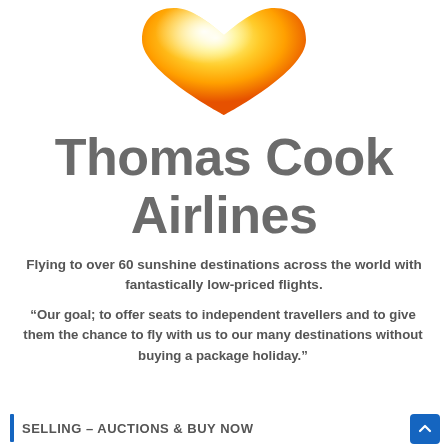[Figure (logo): Thomas Cook Airlines logo: golden/orange heart shape with bright highlight at top, rendered in gradient from yellow to orange]
Thomas Cook Airlines
Flying to over 60 sunshine destinations across the world with fantastically low-priced flights.
“Our goal; to offer seats to independent travellers and to give them the chance to fly with us to our many destinations without buying a package holiday.”
SELLING – AUCTIONS & BUY NOW